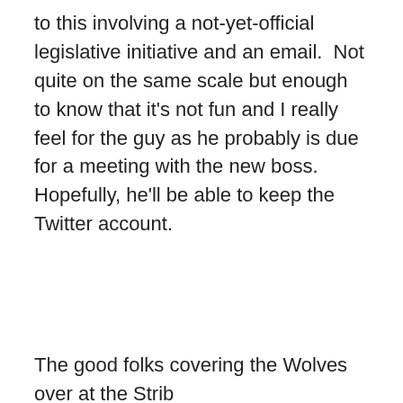to this involving a not-yet-official legislative initiative and an email.  Not quite on the same scale but enough to know that it's not fun and I really feel for the guy as he probably is due for a meeting with the new boss. Hopefully, he'll be able to keep the Twitter account.
The good folks covering the Wolves over at the Strib